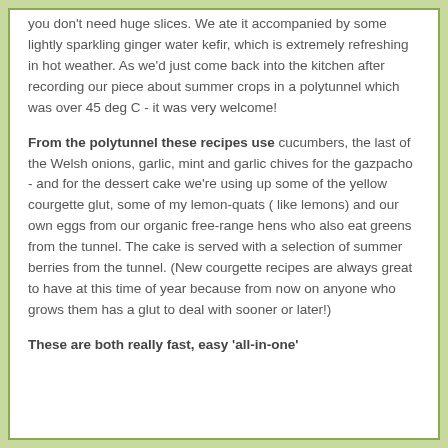you don't need huge slices. We ate it accompanied by some lightly sparkling ginger water kefir, which is extremely refreshing in hot weather. As we'd just come back into the kitchen after recording our piece about summer crops in a polytunnel which was over 45 deg C - it was very welcome!
From the polytunnel these recipes use cucumbers, the last of the Welsh onions, garlic, mint and garlic chives for the gazpacho - and for the dessert cake we're using up some of the yellow courgette glut, some of my lemon-quats ( like lemons) and our own eggs from our organic free-range hens who also eat greens from the tunnel. The cake is served with a selection of summer berries from the tunnel. (New courgette recipes are always great to have at this time of year because from now on anyone who grows them has a glut to deal with sooner or later!)
These are both really fast, easy 'all-in-one'